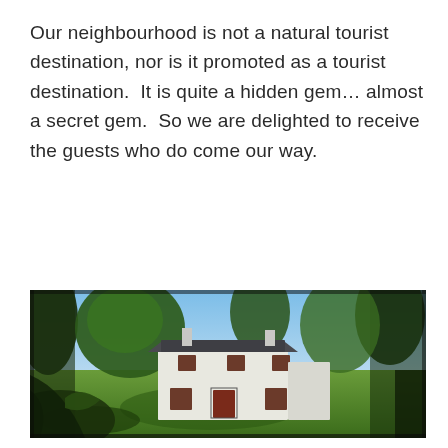Our neighbourhood is not a natural tourist destination, nor is it promoted as a tourist destination.  It is quite a hidden gem… almost a secret gem.  So we are delighted to receive the guests who do come our way.
[Figure (photo): Photograph of a white two-storey country house surrounded by tall trees, viewed across a green lawn. The sky is blue with some clouds visible through the tree canopy. The house has dark window frames and a dark roof.]